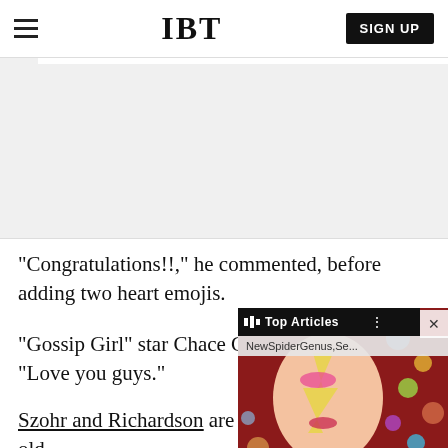IBT
[Figure (screenshot): Grey advertisement placeholder area below navigation bar]
"Congratulations!!," he commented, before adding two heart emojis.
"Gossip Girl" star Chace C... "Love you guys."
[Figure (screenshot): Floating video widget overlay showing a stylized portrait image (Ziggy Stardust-like figure) with 'Top Articles' bar and 'NewSpiderGenus,Se...' subtitle. Close button (X) in top right corner.]
Szohr and Richardson are parents to 14-month-old